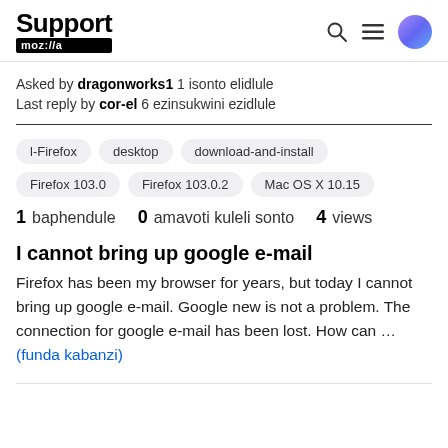Support moz://a
Asked by dragonworks1 1 isonto elidlule
Last reply by cor-el 6 ezinsukwini ezidlule
l-Firefox
desktop
download-and-install
Firefox 103.0
Firefox 103.0.2
Mac OS X 10.15
1 baphendule  0 amavoti kuleli sonto  4 views
I cannot bring up google e-mail
Firefox has been my browser for years, but today I cannot bring up google e-mail. Google new is not a problem. The connection for google e-mail has been lost. How can … (funda kabanzi)